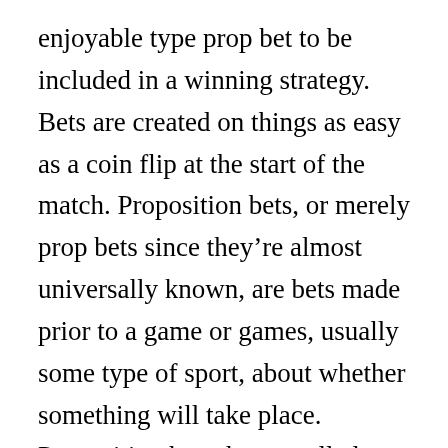enjoyable type prop bet to be included in a winning strategy. Bets are created on things as easy as a coin flip at the start of the match. Proposition bets, or merely prop bets since they're almost universally known, are bets made prior to a game or games, usually some type of sport, about whether something will take place. Proposition bets, better called props, are provided to bettors of all degrees of interest.
Prop betting can be regarded as a simple yet